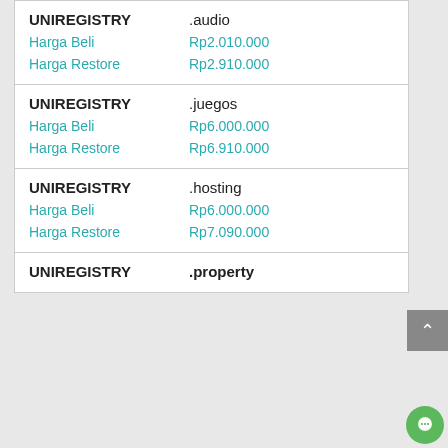| Registry | TLD | Type | Price |
| --- | --- | --- | --- |
| UNIREGISTRY | .audio | Harga Beli | Rp2.010.000 |
| UNIREGISTRY | .audio | Harga Restore | Rp2.910.000 |
| UNIREGISTRY | .juegos | Harga Beli | Rp6.000.000 |
| UNIREGISTRY | .juegos | Harga Restore | Rp6.910.000 |
| UNIREGISTRY | .hosting | Harga Beli | Rp6.000.000 |
| UNIREGISTRY | .hosting | Harga Restore | Rp7.090.000 |
| UNIREGISTRY | .property |  |  |